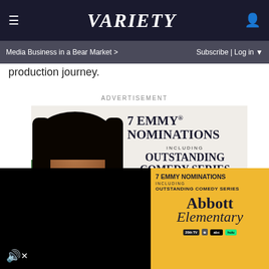Variety
Media Business in a Bear Market >
Subscribe | Log in
production journey.
ADVERTISEMENT
[Figure (photo): Advertisement for Abbott Elementary Emmy nominations. Shows a woman (Quinta Brunson) smiling, wearing a green turtleneck and lanyard badge. Text reads: 7 EMMY NOMINATIONS INCLUDING OUTSTANDING COMEDY SERIES, LEAD ACTRESS COMEDY, WRITING COMEDY, QUINTA BRUNSON, ALL...]
[Figure (photo): Bottom banner ad for Abbott Elementary: 7 EMMY NOMINATIONS INCLUDING OUTSTANDING COMEDY SERIES. Abbott Elementary logo in serif and script typeface on yellow/gold background with network logos.]